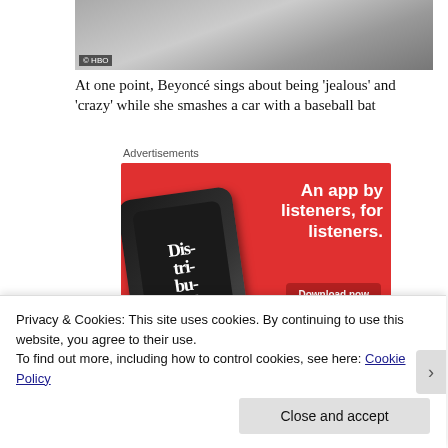[Figure (photo): Photo of Beyonce walking, with © HBO watermark badge at bottom left]
At one point, Beyonce sings about being 'jealous' and 'crazy' while she smashes a car with a baseball bat
Advertisements
[Figure (infographic): Red advertisement banner for a podcast app showing a smartphone with 'Distributed' text, headline 'An app by listeners, for listeners.' and a 'Download now' button]
Privacy & Cookies: This site uses cookies. By continuing to use this website, you agree to their use.
To find out more, including how to control cookies, see here: Cookie Policy
Close and accept